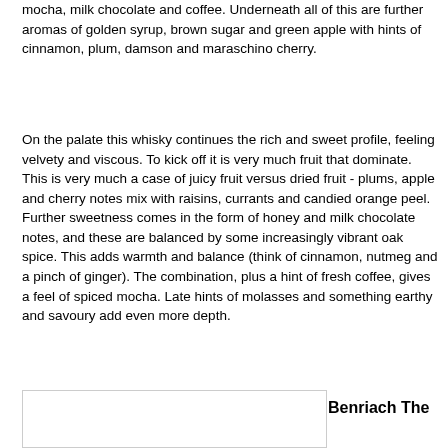mocha, milk chocolate and coffee. Underneath all of this are further aromas of golden syrup, brown sugar and green apple with hints of cinnamon, plum, damson and maraschino cherry.
On the palate this whisky continues the rich and sweet profile, feeling velvety and viscous. To kick off it is very much fruit that dominate. This is very much a case of juicy fruit versus dried fruit - plums, apple and cherry notes mix with raisins, currants and candied orange peel. Further sweetness comes in the form of honey and milk chocolate notes, and these are balanced by some increasingly vibrant oak spice. This adds warmth and balance (think of cinnamon, nutmeg and a pinch of ginger). The combination, plus a hint of fresh coffee, gives a feel of spiced mocha. Late hints of molasses and something earthy and savoury add even more depth.
Benriach The